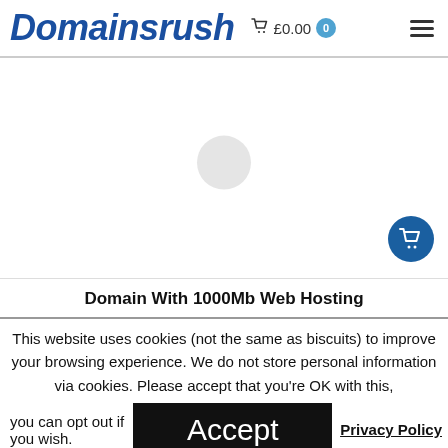Domainsrush £0.00 0
[Figure (screenshot): Loading spinner circle in the center of a white content area, with a floating dark blue cart button in the bottom right]
Domain With 1000Mb Web Hosting
This website uses cookies (not the same as biscuits) to improve your browsing experience. We do not store personal information via cookies. Please accept that you're OK with this, you can opt out if you wish.
Accept
Privacy Policy